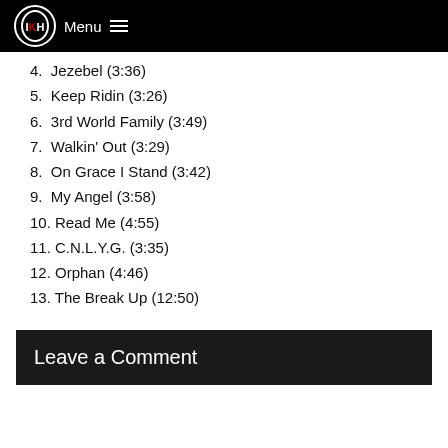IKH Menu
4. Jezebel (3:36)
5. Keep Ridin (3:26)
6. 3rd World Family (3:49)
7. Walkin' Out (3:29)
8. On Grace I Stand (3:42)
9. My Angel (3:58)
10. Read Me (4:55)
11. C.N.L.Y.G. (3:35)
12. Orphan (4:46)
13. The Break Up (12:50)
Leave a Comment